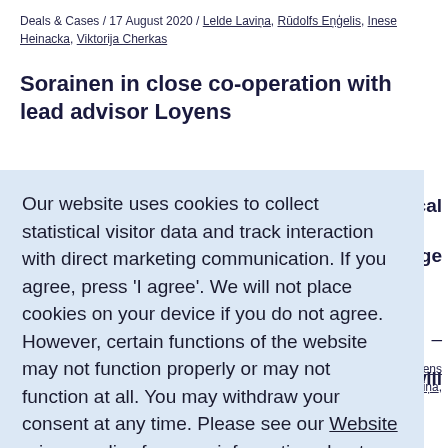Deals & Cases / 17 August 2020 / Lelde Laviņa, Rūdolfs Eņģelis, Inese Heinacka, Viktorija Cherkas
Sorainen in close co-operation with lead advisor Loyens
Our website uses cookies to collect statistical visitor data and track interaction with direct marketing communication. If you agree, press 'I agree'. We will not place cookies on your device if you do not agree. However, certain functions of the website may not function properly or may not function at all. You may withdraw your consent at any time. Please see our Website privacy policy for more information about cookies, data they collect, who may access them, and your rights.
Decline   I agree
Jorens Laviņa,
The project VPH, a developer and manager of world-